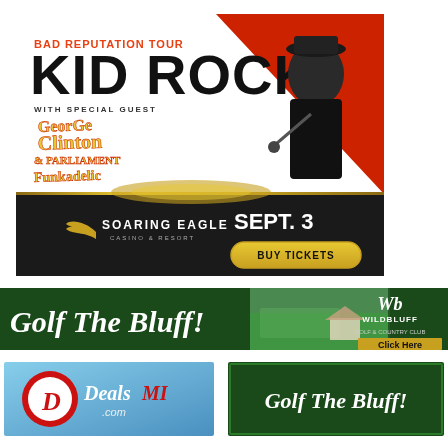[Figure (infographic): Bad Reputation Tour Kid Rock concert advertisement with special guest George Clinton & Parliament Funkadelic. Event at Soaring Eagle Casino & Resort on Sept. 3. Includes Buy Tickets button. Features photo of Kid Rock performing.]
[Figure (infographic): Golf The Bluff! banner advertisement for WildBluff golf course with Click Here call to action and golf course scenery photo.]
[Figure (infographic): DealsMI.com advertisement with red circle logo and blue sky background.]
[Figure (infographic): Golf The Bluff! smaller banner advertisement on dark green background.]